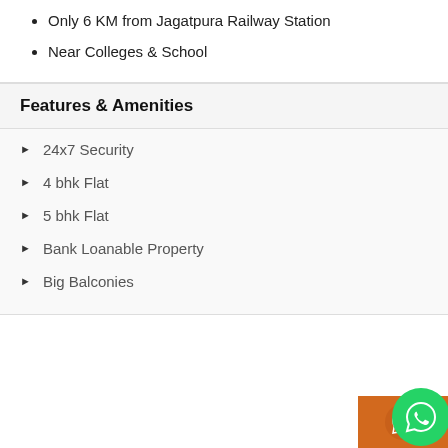Only 6 KM from Jagatpura Railway Station
Near Colleges & School
Features & Amenities
24x7 Security
4 bhk Flat
5 bhk Flat
Bank Loanable Property
Big Balconies